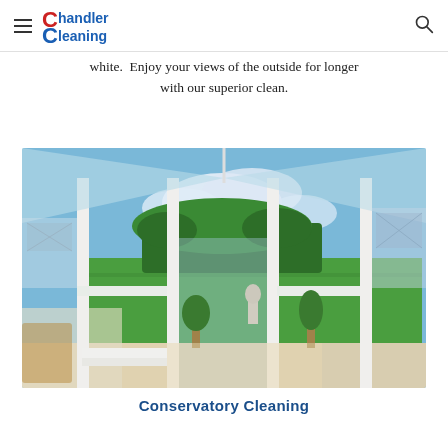Chandler Cleaning
white.  Enjoy your views of the outside for longer with our superior clean.
[Figure (photo): Interior view of a bright conservatory with white uPVC frames and glass roof panels, looking out through open doors to a sunny green countryside garden with trees, grass and a small statue]
Conservatory Cleaning